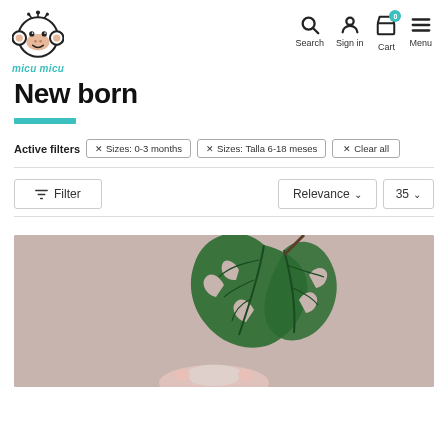micu micu — Search, Sign in, Cart, Menu navigation
New born
Active filters  ✕ Sizes: 0-3 months  ✕ Sizes: Talla 6-18 meses  ✕ Clear all
Filter  Relevance ▾  35 ▾
[Figure (photo): Baby lying next to a large green monstera leaf on a pink/beige background]